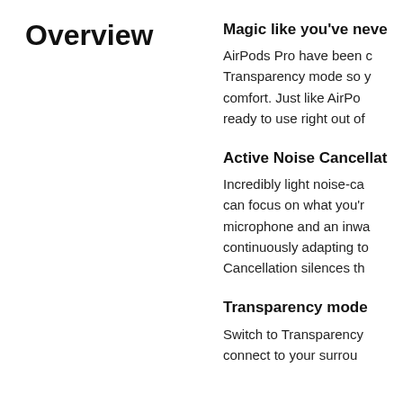Overview
Magic like you've neve
AirPods Pro have been c Transparency mode so y comfort. Just like AirPo ready to use right out of
Active Noise Cancellat
Incredibly light noise-ca can focus on what you'r microphone and an inwa continuously adapting to Cancellation silences th
Transparency mode
Switch to Transparency connect to your surrou